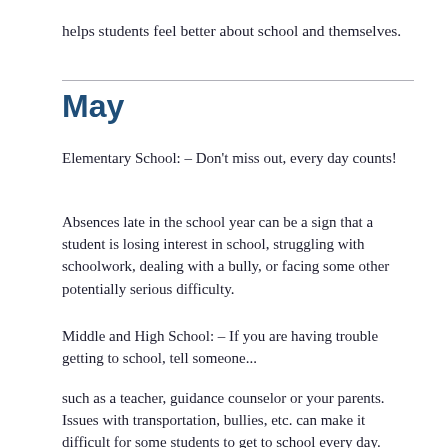helps students feel better about school and themselves.
May
Elementary School: – Don't miss out, every day counts!
Absences late in the school year can be a sign that a student is losing interest in school, struggling with schoolwork, dealing with a bully, or facing some other potentially serious difficulty.
Middle and High School: – If you are having trouble getting to school, tell someone...
such as a teacher, guidance counselor or your parents. Issues with transportation, bullies, etc. can make it difficult for some students to get to school every day. Many schools offer services for the whole family to